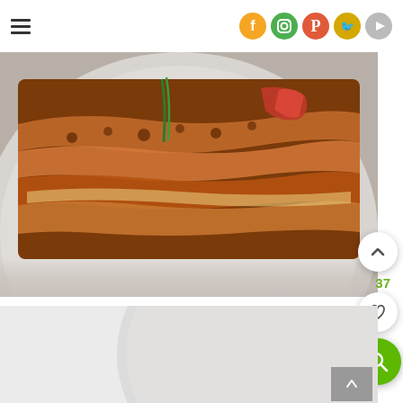[Figure (screenshot): Website header with hamburger menu icon on left and social media icons (Facebook, Instagram, Pinterest, Twitter, YouTube) on right]
[Figure (photo): Close-up photo of a lasagna or layered meat and pasta dish on a plate, showing layers of pasta, ground meat, and sauce]
[Figure (screenshot): UI elements: scroll-up button (chevron up), number 37 in green, heart/favorite button, green search button, and a gray scroll-to-top arrow button]
[Figure (photo): Partial view of a second food photo, mostly gray/white background visible]